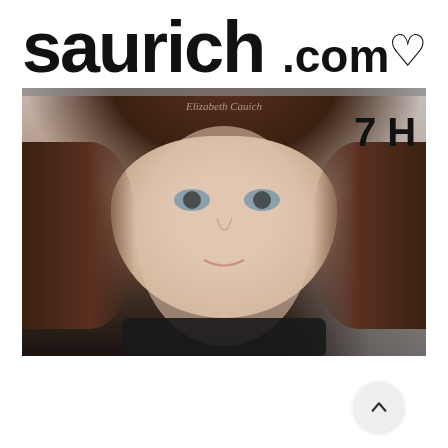[Figure (logo): saurich.com logo with stylized hand-drawn black lettering and a heart symbol]
[Figure (photo): A young woman with brown hair and blue eyes looking at the camera, wearing a black top. The image has a watermark reading 'Elizabeth Cauich' and a '7 H' label in the upper right corner. Background shows a room with various items.]
[Figure (other): White area with a circular scroll-up button in the bottom right corner containing an upward chevron arrow]